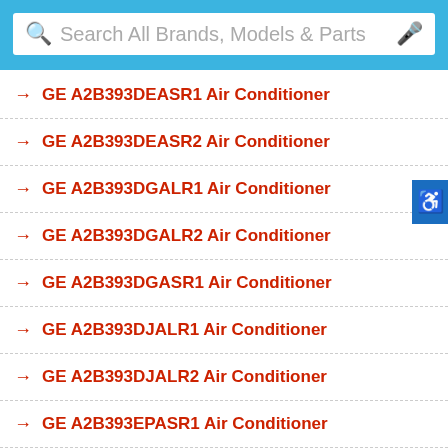[Figure (screenshot): Search bar with search icon and microphone icon, placeholder text 'Search All Brands, Models & Parts']
GE A2B393DEASR1 Air Conditioner
GE A2B393DEASR2 Air Conditioner
GE A2B393DGALR1 Air Conditioner
GE A2B393DGALR2 Air Conditioner
GE A2B393DGASR1 Air Conditioner
GE A2B393DJALR1 Air Conditioner
GE A2B393DJALR2 Air Conditioner
GE A2B393EPASR1 Air Conditioner
GE A2B393EPASR2 Air Conditioner
GE A2B398DAALR1 Air Conditioner
GE A2B398DAALR2 Air Conditioner
GE A2B398DAASR1 Air Conditioner